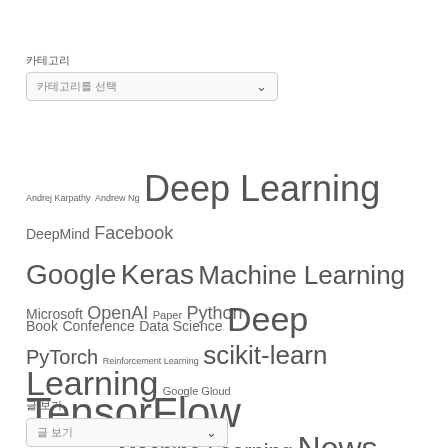카테고리
카테고리 선택
[Figure (other): Tag cloud with ML/AI related tags: Andrej Karpathy, Andrew Ng, Deep Learning, DeepMind, Facebook, Google, Keras, Machine Learning, Microsoft, OpenAI, Paper, Python, PyTorch, Reinforcement Learning, scikit-learn, TensorFlow, Torch, and Korean tags]
[Figure (other): Tag cloud with categories: Book, Conference, Data Science, Deep Learning, Google Gloud, Keras, Lecture, Machine Learning, News, Paper, Python, PyTorch, Reinforcement Learning, Report, scikit-learn, TensorFlow, Theano, xgboost, and Korean tags]
글 보기
글 보기